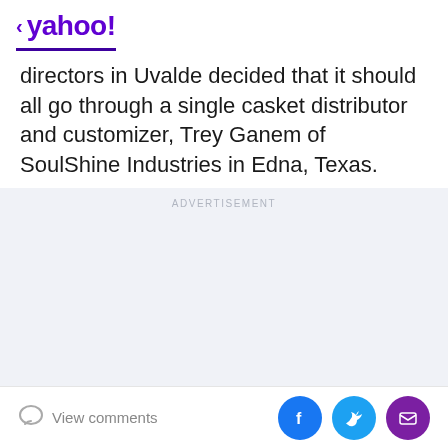< yahoo!
directors in Uvalde decided that it should all go through a single casket distributor and customizer, Trey Ganem of SoulShine Industries in Edna, Texas.
[Figure (other): Advertisement placeholder area with light gray background and ADVERTISEMENT label]
View comments